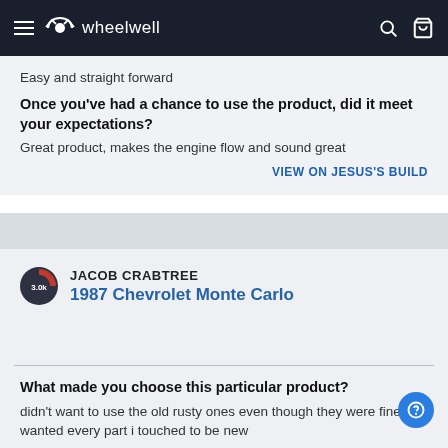wheelwell
Easy and straight forward
Once you've had a chance to use the product, did it meet your expectations?
Great product, makes the engine flow and sound great
VIEW ON JESUS'S BUILD
JACOB CRABTREE
1987 Chevrolet Monte Carlo
What made you choose this particular product?
didn't want to use the old rusty ones even though they were fine, i wanted every part i touched to be new
What were you trying to accomplish by adding this product?